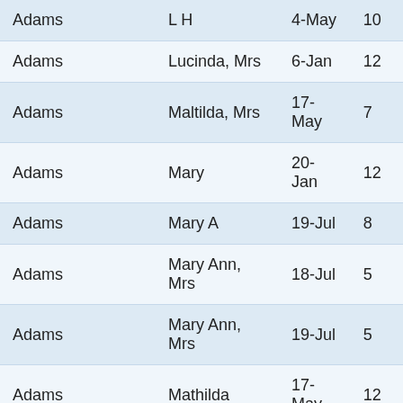| Adams | L H | 4-May | 10 |
| Adams | Lucinda, Mrs | 6-Jan | 12 |
| Adams | Maltilda, Mrs | 17-May | 7 |
| Adams | Mary | 20-Jan | 12 |
| Adams | Mary A | 19-Jul | 8 |
| Adams | Mary Ann, Mrs | 18-Jul | 5 |
| Adams | Mary Ann, Mrs | 19-Jul | 5 |
| Adams | Mathilda | 17-May | 12 |
| Adams | O M, Mrs | 19-Feb | 2 |